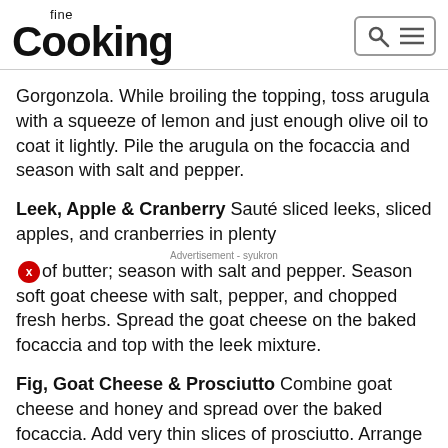fine Cooking
Gorgonzola. While broiling the topping, toss arugula with a squeeze of lemon and just enough olive oil to coat it lightly. Pile the arugula on the focaccia and season with salt and pepper.
Leek, Apple & Cranberry Sauté sliced leeks, sliced apples, and cranberries in plenty of butter; season with salt and pepper. Season soft goat cheese with salt, pepper, and chopped fresh herbs. Spread the goat cheese on the baked focaccia and top with the leek mixture.
Fig, Goat Cheese & Prosciutto Combine goat cheese and honey and spread over the baked focaccia. Add very thin slices of prosciutto. Arrange sliced figs on top. Broil for 2 to 3 minutes to